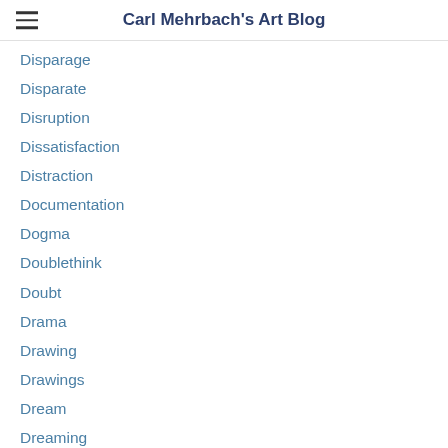Carl Mehrbach's Art Blog
Disparage
Disparate
Disruption
Dissatisfaction
Distraction
Documentation
Dogma
Doublethink
Doubt
Drama
Drawing
Drawings
Dream
Dreaming
Dull
Dynamic
Dynamism
Education